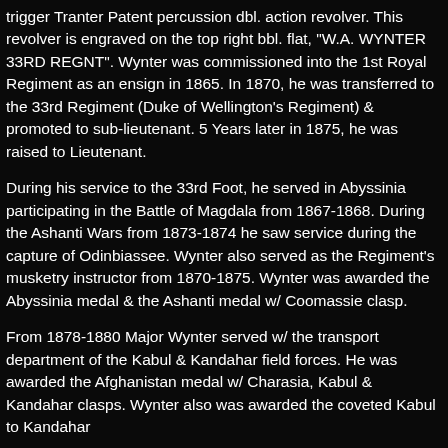trigger Tranter Patent percussion dbl. action revolver. This revolver is engraved on the top right bbl. flat, "W.A. WYNTER 33RD REGNT". Wynter was commissioned into the 1st Royal Regiment as an ensign in 1865. In 1870, he was transferred to the 33rd Regiment (Duke of Wellington's Regiment) & promoted to sub-lieutenant. 5 Years later in 1875, he was raised to Lieutenant.
During his service to the 33rd Foot, he served in Abyssinia participating in the Battle of Magdala from 1867-1868. During the Ashanti Wars from 1873-1874 he saw service during the capture of Odinbiassee. Wynter also served as the Regiment's musketry instructor from 1870-1875. Wynter was awarded the Abyssinia medal & the Ashanti medal w/ Coomassie clasp.
From 1878-1880 Major Wynter served w/ the transport department of the Kabul & Kandahar field forces. He was awarded the Afghanistan medal w/ Charasia, Kabul & Kandahar clasps. Wynter also was awarded the coveted Kabul to Kandahar